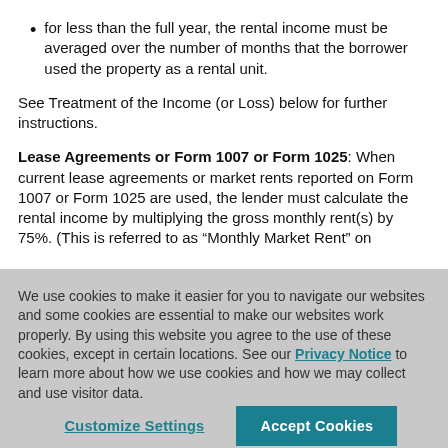for less than the full year, the rental income must be averaged over the number of months that the borrower used the property as a rental unit.
See Treatment of the Income (or Loss) below for further instructions.
Lease Agreements or Form 1007 or Form 1025: When current lease agreements or market rents reported on Form 1007 or Form 1025 are used, the lender must calculate the rental income by multiplying the gross monthly rent(s) by 75%. (This is referred to as “Monthly Market Rent” on
We use cookies to make it easier for you to navigate our websites and some cookies are essential to make our websites work properly. By using this website you agree to the use of these cookies, except in certain locations. See our Privacy Notice to learn more about how we use cookies and how we may collect and use visitor data.
Customize Settings | Accept Cookies